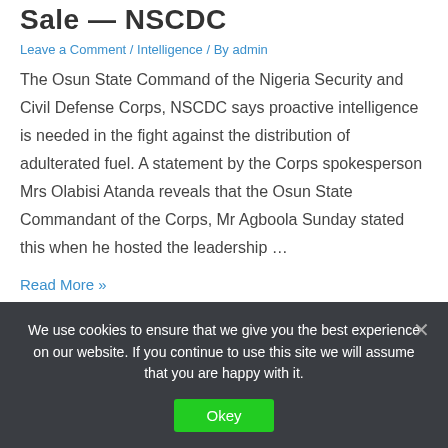Sale — NSCDC
Leave a Comment / Intelligence / By admin
The Osun State Command of the Nigeria Security and Civil Defense Corps, NSCDC says proactive intelligence is needed in the fight against the distribution of adulterated fuel. A statement by the Corps spokesperson Mrs Olabisi Atanda reveals that the Osun State Commandant of the Corps, Mr Agboola Sunday stated this when he hosted the leadership …
Read More »
We use cookies to ensure that we give you the best experience on our website. If you continue to use this site we will assume that you are happy with it.
Okey